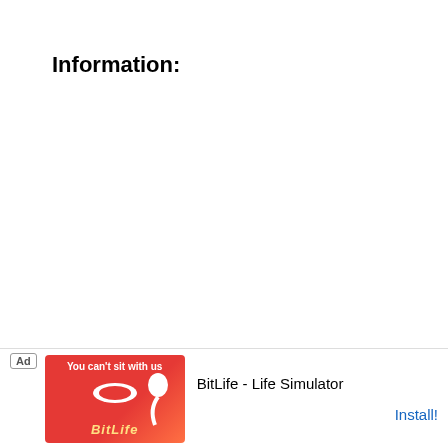Information:
Phone: (801) 613-8517
Location: Clearfield, Utah
Em[ail — partially obscured by ad]
[Figure (other): Ad overlay: BitLife - Life Simulator app advertisement with red background image and Install button]